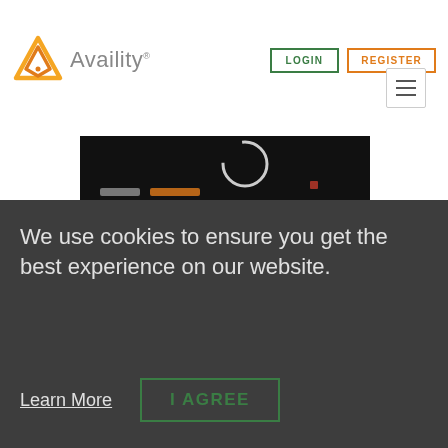[Figure (logo): Availity logo with orange/yellow interlocking triangles icon and gray 'Availity' text]
LOGIN
REGISTER
[Figure (screenshot): Dark/black video thumbnail with a white circular play button arc and partial colored text]
We use cookies to ensure you get the best experience on our website.
Learn More
I AGREE